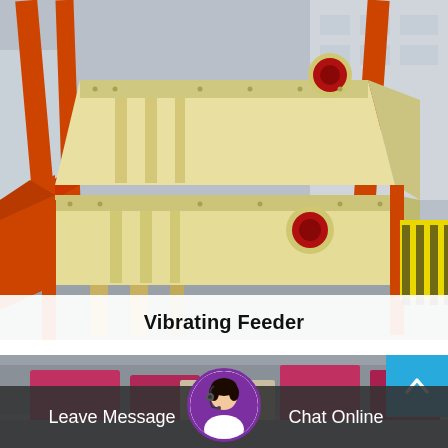[Figure (photo): Large industrial vibrating feeder machinery in cream/yellow color with red circular elements, supported by orange crane structures in an outdoor factory yard. Two stacked trapezoidal feeder units visible, bolted steel construction.]
Vibrating Feeder
[Figure (photo): Partial view of another industrial product in a factory setting with red/pink objects visible.]
Leave Message
Chat Online